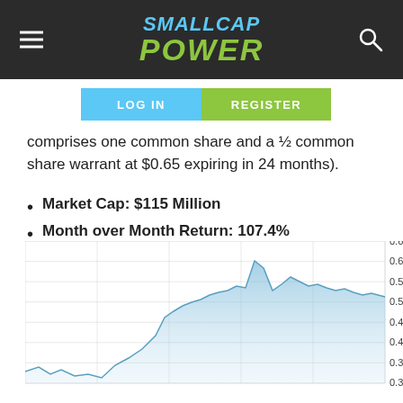SMALLCAP POWER
comprises one common share and a ½ common share warrant at $0.65 expiring in 24 months).
Market Cap: $115 Million
Month over Month Return: 107.4%
[Figure (area-chart): Area chart showing stock price rising from approximately 0.30 to a peak near 0.65 then settling around 0.55, with y-axis ranging from 0.30 to 0.65]